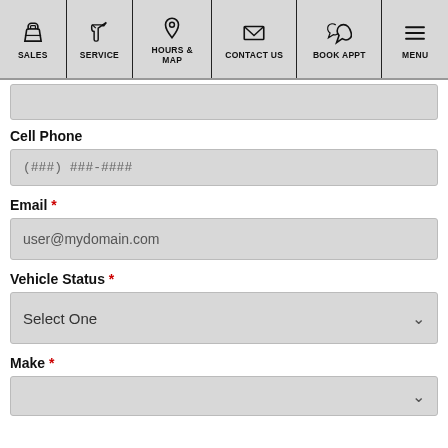SALES | SERVICE | HOURS & MAP | CONTACT US | BOOK APPT | MENU
Cell Phone
(###) ###-####
Email *
user@mydomain.com
Vehicle Status *
Select One
Make *